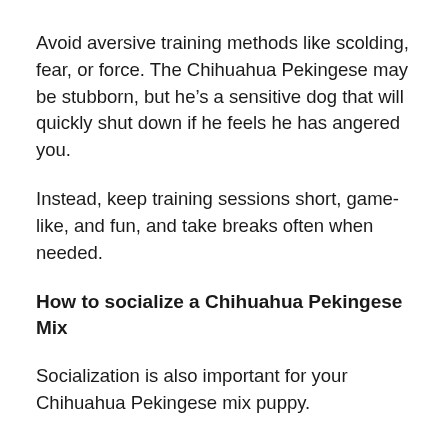Avoid aversive training methods like scolding, fear, or force. The Chihuahua Pekingese may be stubborn, but he’s a sensitive dog that will quickly shut down if he feels he has angered you.
Instead, keep training sessions short, game-like, and fun, and take breaks often when needed.
How to socialize a Chihuahua Pekingese Mix
Socialization is also important for your Chihuahua Pekingese mix puppy.